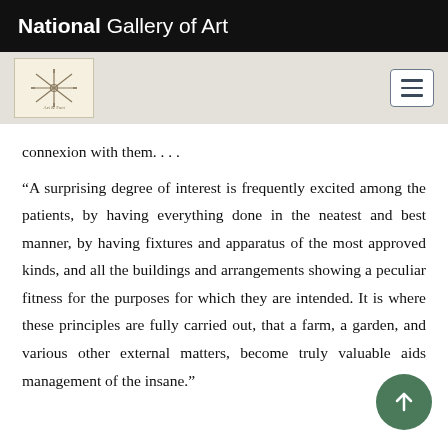National Gallery of Art
[Figure (logo): Navigation bar with Art&Fact logo icon on left and hamburger menu button on right, on a light gray background]
connexion with them. . . .
“A surprising degree of interest is frequently excited among the patients, by having everything done in the neatest and best manner, by having fixtures and apparatus of the most approved kinds, and all the buildings and arrangements showing a peculiar fitness for the purposes for which they are intended. It is where these principles are fully carried out, that a farm, a garden, and various other external matters, become truly valuable aids management of the insane.”